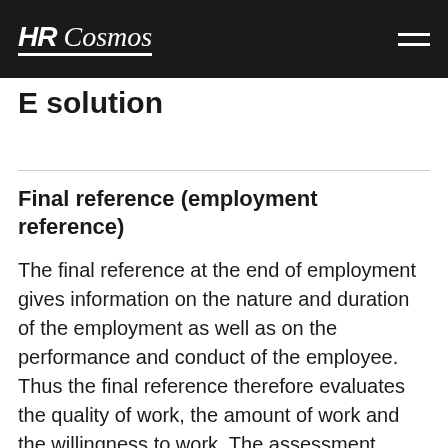HR Cosmos
E solution
Final reference (employment reference)
The final reference at the end of employment gives information on the nature and duration of the employment as well as on the performance and conduct of the employee. Thus the final reference therefore evaluates the quality of work, the amount of work and the willingness to work. The assessment